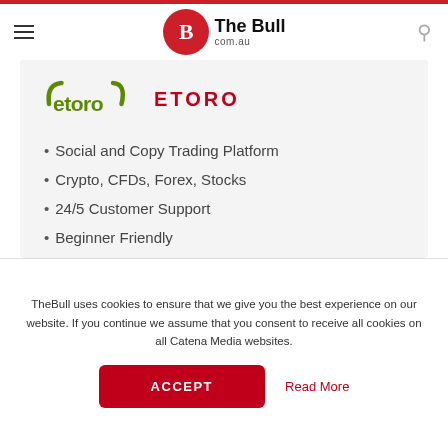The Bull com.au
[Figure (logo): eToro logo with green horns icon and red ETORO text]
Social and Copy Trading Platform
Crypto, CFDs, Forex, Stocks
24/5 Customer Support
Beginner Friendly
ASIC, CySEC, FCA regulated
TheBull uses cookies to ensure that we give you the best experience on our website. If you continue we assume that you consent to receive all cookies on all Catena Media websites.